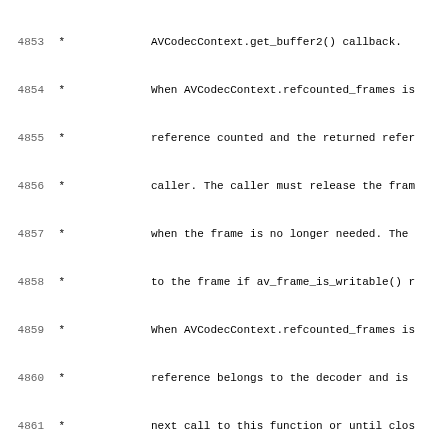Source code / API documentation excerpt showing lines 4853-4885 of a C header file (likely libavcodec), containing documentation comments and function declarations for avcodec_decode_video2 and avcodec_decode_subtitle2.